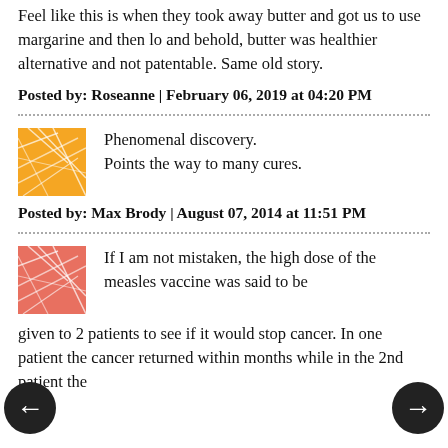Feel like this is when they took away butter and got us to use margarine and then lo and behold, butter was healthier alternative and not patentable. Same old story.
Posted by: Roseanne | February 06, 2019 at 04:20 PM
[Figure (illustration): Orange/yellow abstract network avatar icon]
Phenomenal discovery. Points the way to many cures.
Posted by: Max Brody | August 07, 2014 at 11:51 PM
[Figure (illustration): Pink/red abstract network avatar icon]
If I am not mistaken, the high dose of the measles vaccine was said to be given to 2 patients to see if it would stop cancer. In one patient the cancer returned within months while in the 2nd patient the